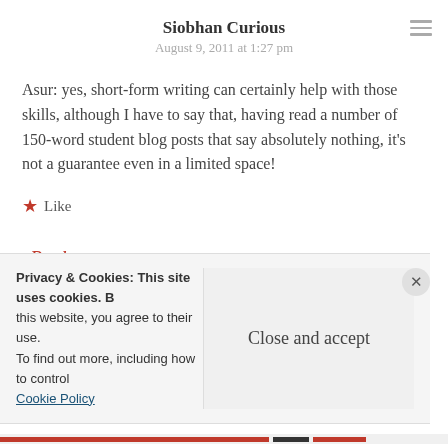Siobhan Curious
August 9, 2011 at 1:27 pm
Asur: yes, short-form writing can certainly help with those skills, although I have to say that, having read a number of 150-word student blog posts that say absolutely nothing, it's not a guarantee even in a limited space!
★ Like
Reply
Privacy & Cookies: This site uses cookies. By continuing to use this website, you agree to their use. To find out more, including how to control cookies, see here: Cookie Policy
Close and accept